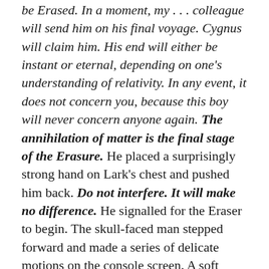be Erased. In a moment, my . . . colleague will send him on his final voyage. Cygnus will claim him. His end will either be instant or eternal, depending on one's understanding of relativity. In any event, it does not concern you, because this boy will never concern anyone again. The annihilation of matter is the final stage of the Erasure. He placed a surprisingly strong hand on Lark's chest and pushed him back. Do not interfere. It will make no difference. He signalled for the Eraser to begin. The skull-faced man stepped forward and made a series of delicate motions on the console screen. A soft chime indicated success.
“I just wanna know what the kid did to deserve this,” whined Lark.